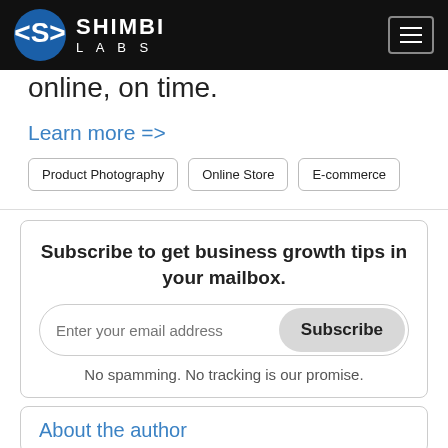SHIMBI LABS
online, on time.
Learn more =>
Product Photography
Online Store
E-commerce
Subscribe to get business growth tips in your mailbox.
Enter your email address
Subscribe
No spamming. No tracking is our promise.
About the author